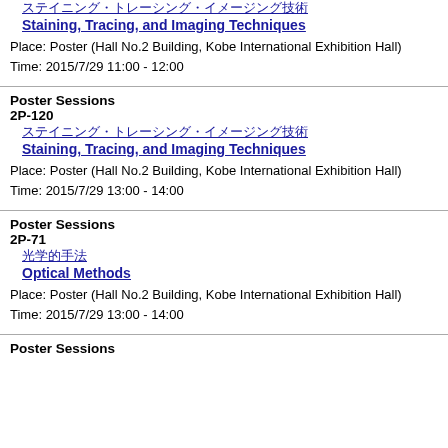ステイニング・トレーシング・イメージング技術
Staining, Tracing, and Imaging Techniques
Place: Poster (Hall No.2 Building, Kobe International Exhibition Hall)
Time: 2015/7/29 11:00 - 12:00
Poster Sessions
2P-120
ステイニング・トレーシング・イメージング技術
Staining, Tracing, and Imaging Techniques
Place: Poster (Hall No.2 Building, Kobe International Exhibition Hall)
Time: 2015/7/29 13:00 - 14:00
Poster Sessions
2P-71
光学的手法
Optical Methods
Place: Poster (Hall No.2 Building, Kobe International Exhibition Hall)
Time: 2015/7/29 13:00 - 14:00
Poster Sessions